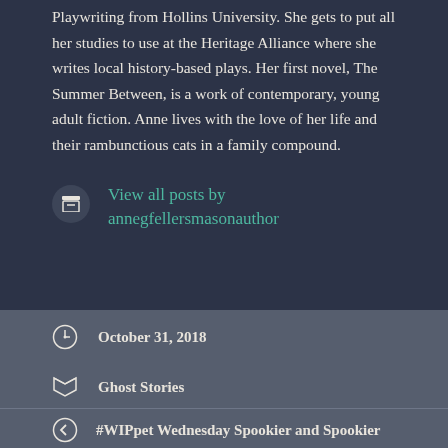Playwriting from Hollins University. She gets to put all her studies to use at the Heritage Alliance where she writes local history-based plays. Her first novel, The Summer Between, is a work of contemporary, young adult fiction. Anne lives with the love of her life and their rambunctious cats in a family compound.
View all posts by annegfellersmasonauthor
October 31, 2018
Ghost Stories
ANNE GFELLERS MASON, Scary Stories, WIP, WIPPET WEDNESDAY, WORK IN PROGRESS
#WIPpet Wednesday Spookier and Spookier